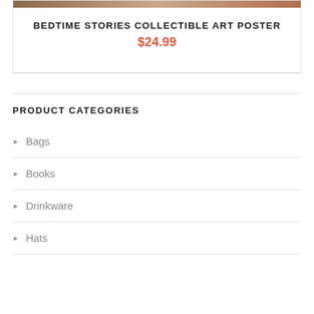BEDTIME STORIES COLLECTIBLE ART POSTER
$24.99
PRODUCT CATEGORIES
Bags
Books
Drinkware
Hats